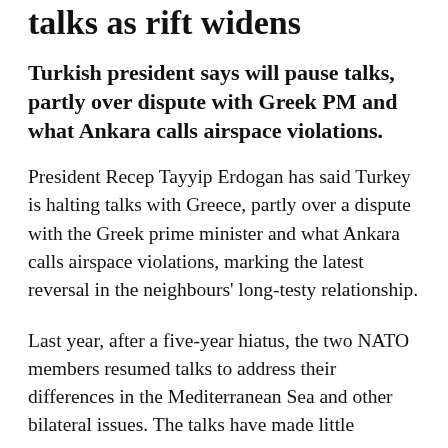talks as rift widens
Turkish president says will pause talks, partly over dispute with Greek PM and what Ankara calls airspace violations.
President Recep Tayyip Erdogan has said Turkey is halting talks with Greece, partly over a dispute with the Greek prime minister and what Ankara calls airspace violations, marking the latest reversal in the neighbours' long-testy relationship.
Last year, after a five-year hiatus, the two NATO members resumed talks to address their differences in the Mediterranean Sea and other bilateral issues. The talks have made little progress and the countries have often clashed over